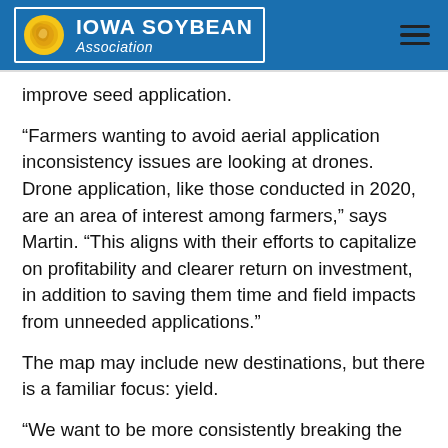Iowa Soybean Association
improve seed application.
“Farmers wanting to avoid aerial application inconsistency issues are looking at drones. Drone application, like those conducted in 2020, are an area of interest among farmers,” says Martin. “This aligns with their efforts to capitalize on profitability and clearer return on investment, in addition to saving them time and field impacts from unneeded applications.”
The map may include new destinations, but there is a familiar focus: yield.
“We want to be more consistently breaking the